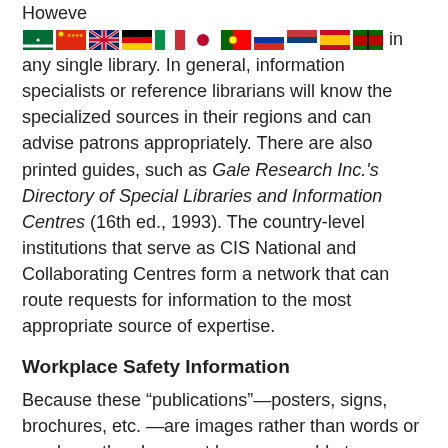However [flags] in any single library. In general, information specialists or reference librarians will know the specialized sources in their regions and can advise patrons appropriately. There are also printed guides, such as Gale Research Inc.'s Directory of Special Libraries and Information Centres (16th ed., 1993). The country-level institutions that serve as CIS National and Collaborating Centres form a network that can route requests for information to the most appropriate source of expertise.
Workplace Safety Information
Because these “publications”—posters, signs, brochures, etc.—are images rather than words or numbers, they have not been amenable to electronic storage and retrieval in the past. At the time of writing, that is changing, but the OSH specialist seeking appropriate leaflets to hand out at a half-day course in fire safety should probably turn to the local fire department before turning on a computer. Of the core OSH databases, only CISDOC systematically includes references to training